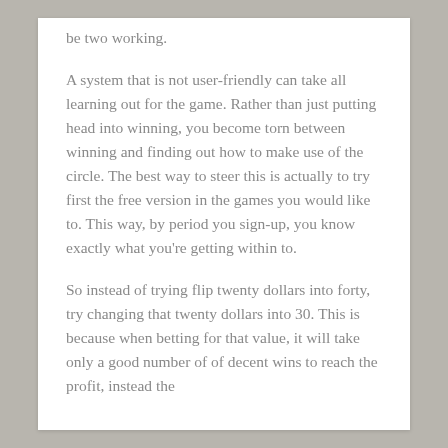be two working.
A system that is not user-friendly can take all learning out for the game. Rather than just putting head into winning, you become torn between winning and finding out how to make use of the circle. The best way to steer this is actually to try first the free version in the games you would like to. This way, by period you sign-up, you know exactly what you're getting within to.
So instead of trying flip twenty dollars into forty, try changing that twenty dollars into 30. This is because when betting for that value, it will take only a good number of of decent wins to reach the profit, instead the